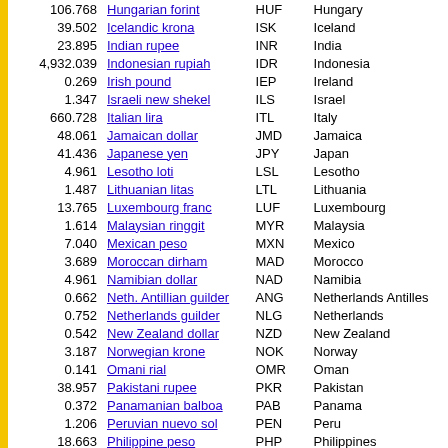| Rate | Currency | Code | Country |
| --- | --- | --- | --- |
| 106.768 | Hungarian forint | HUF | Hungary |
| 39.502 | Icelandic krona | ISK | Iceland |
| 23.895 | Indian rupee | INR | India |
| 4,932.039 | Indonesian rupiah | IDR | Indonesia |
| 0.269 | Irish pound | IEP | Ireland |
| 1.347 | Israeli new shekel | ILS | Israel |
| 660.728 | Italian lira | ITL | Italy |
| 48.061 | Jamaican dollar | JMD | Jamaica |
| 41.436 | Japanese yen | JPY | Japan |
| 4.961 | Lesotho loti | LSL | Lesotho |
| 1.487 | Lithuanian litas | LTL | Lithuania |
| 13.765 | Luxembourg franc | LUF | Luxembourg |
| 1.614 | Malaysian ringgit | MYR | Malaysia |
| 7.040 | Mexican peso | MXN | Mexico |
| 3.689 | Moroccan dirham | MAD | Morocco |
| 4.961 | Namibian dollar | NAD | Namibia |
| 0.662 | Neth. Antillian guilder | ANG | Netherlands Antilles |
| 0.752 | Netherlands guilder | NLG | Netherlands |
| 0.542 | New Zealand dollar | NZD | New Zealand |
| 3.187 | Norwegian krone | NOK | Norway |
| 0.141 | Omani rial | OMR | Oman |
| 38.957 | Pakistani rupee | PKR | Pakistan |
| 0.372 | Panamanian balboa | PAB | Panama |
| 1.206 | Peruvian nuevo sol | PEN | Peru |
| 18.663 | Philippine peso | PHP | Philippines |
| 1.443 | Polish zloty | PLN | Poland |
| 68.412 | Portuguese escudo | PTE | Portugal |
| 0.287 | Saint Helenian pound | SHP | Saint Helena |
| 0.519 | Singapore dollar | SGD | Singapore |